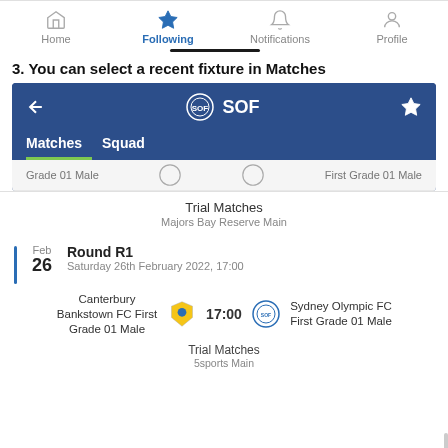[Figure (screenshot): Mobile app navigation bar with Home, Following (active, blue star), Notifications, and Profile icons]
3. You can select a recent fixture in Matches
[Figure (screenshot): Mobile app screenshot showing SOF club page with Matches and Squad tabs, a truncated match row showing Grade 01 Male and First Grade 01 Male, Trial Matches at Majors Bay Reserve Main, Round R1 on Saturday 26th February 2022 17:00, Canterbury Bankstown FC First Grade 01 Male vs Sydney Olympic FC First Grade 01 Male at 17:00, Trial Matches at 5sports Main]